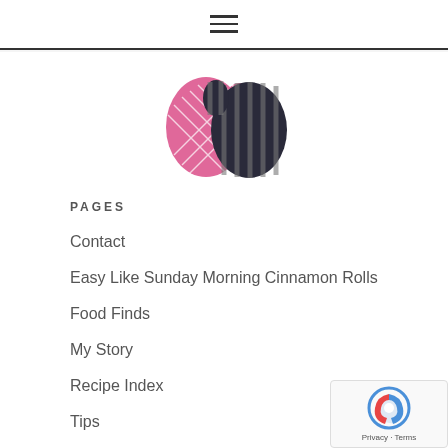hamburger menu icon
[Figure (logo): Two oven mitts logo — one pink with crosshatch pattern, one dark with stripes]
PAGES
Contact
Easy Like Sunday Morning Cinnamon Rolls
Food Finds
My Story
Recipe Index
Tips
CATEGORIES
Beginnings